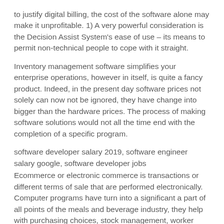to justify digital billing, the cost of the software alone may make it unprofitable. 1) A very powerful consideration is the Decision Assist System's ease of use – its means to permit non-technical people to cope with it straight.
Inventory management software simplifies your enterprise operations, however in itself, is quite a fancy product. Indeed, in the present day software prices not solely can now not be ignored, they have change into bigger than the hardware prices. The process of making software solutions would not all the time end with the completion of a specific program.
software developer salary 2019, software engineer salary google, software developer jobs
Ecommerce or electronic commerce is transactions or different terms of sale that are performed electronically. Computer programs have turn into a significant a part of all points of the meals and beverage industry, they help with purchasing choices, stock management, worker scheduling and training, and buyer acquisition and retention.
Relatively, it ought to be a highly adaptive determination